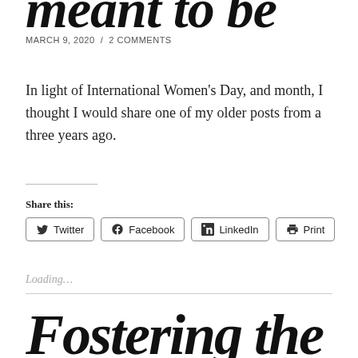meant to be
MARCH 9, 2020 / 2 COMMENTS
In light of International Women's Day, and month, I thought I would share one of my older posts from a three years ago.
Share this:
Twitter Facebook LinkedIn Print
Loading...
Fostering the